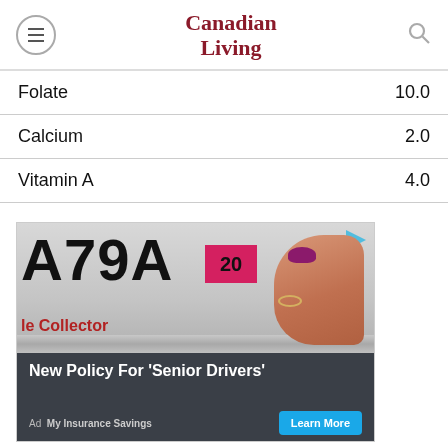Canadian Living
| Nutrient | Value |
| --- | --- |
| Folate | 10.0 |
| Calcium | 2.0 |
| Vitamin A | 4.0 |
[Figure (photo): Advertisement showing a hand pointing at a license plate sticker. Text: 'New Policy For Senior Drivers'. Ad by My Insurance Savings with a Learn More button.]